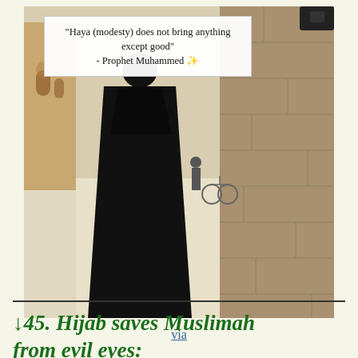[Figure (photo): Black and white photo of a woman wearing a black abaya/niqab from behind, walking near a stone wall, with an overlaid quote box reading: 'Haya (modesty) does not bring anything except good' - Prophet Muhammed]
via
↓45. Hijab saves Muslimah from evil eyes: